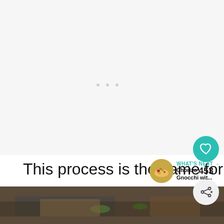[Figure (photo): Large mostly white/blank image area at top of page, appears to be a loading or placeholder image with faint dots visible in center]
This process is the same for all round fish.
[Figure (photo): Bottom strip showing what appears to be fish cooking in a pan, dark tones with green herbs visible]
[Figure (infographic): UI overlay elements: teal heart/favorite button with count 453, share button, and 'WHAT'S NEXT' widget showing Chorizo Gnocchi wit... with a thumbnail of the dish]